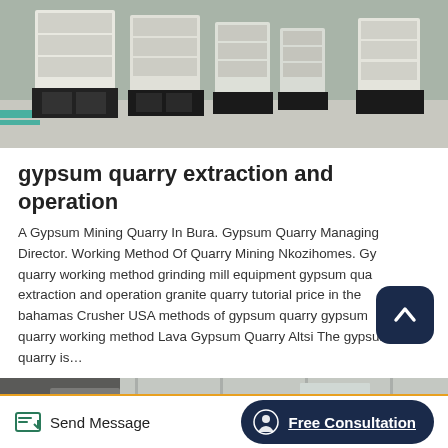[Figure (photo): Industrial factory floor showing large white and black modular shelving/crushing equipment lined up in a row on a concrete floor with teal-painted accents]
gypsum quarry extraction and operation
A Gypsum Mining Quarry In Bura. Gypsum Quarry Managing Director. Working Method Of Quarry Mining Nkozihomes. Gypsum quarry working method grinding mill equipment gypsum quarry extraction and operation granite quarry tutorial price in the bahamas Crusher USA methods of gypsum quarry gypsum quarry working method Lava Gypsum Quarry Altsi The gypsum quarry is...
[Figure (photo): Industrial interior showing yellow crane or beam structure on the left and grey wall panels or cladding on the right]
Send Message   Free Consultation